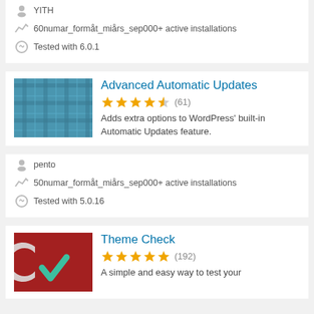YITH
60numar_formåt_miårs_sep000+ active installations
Tested with 6.0.1
Advanced Automatic Updates
(61) — 4.5 stars
Adds extra options to WordPress' built-in Automatic Updates feature.
pento
50numar_formåt_miårs_sep000+ active installations
Tested with 5.0.16
Theme Check
(192) — 5 stars
A simple and easy way to test your